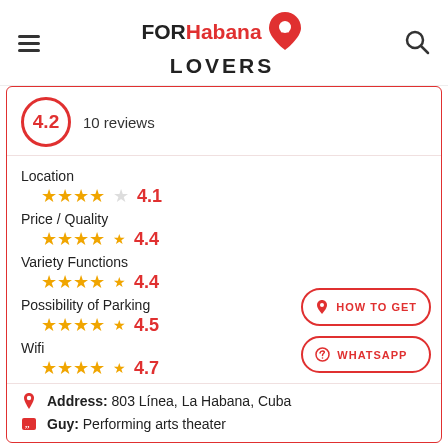FORHabana LOVERS
4.2  10 reviews
Location
★★★★☆  4.1
Price / Quality
★★★★½  4.4
Variety Functions
★★★★½  4.4
Possibility of Parking
★★★★½  4.5
Wifi
★★★★½  4.7
Address: 803 Línea, La Habana, Cuba
Guy: Performing arts theater